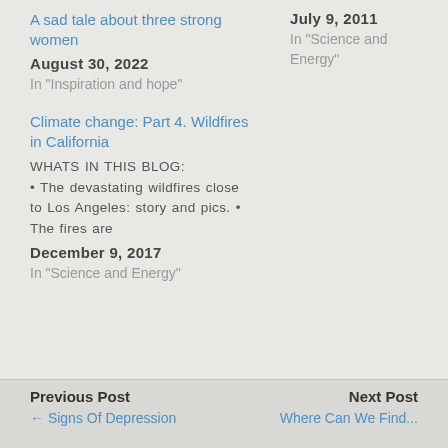A sad tale about three strong women
August 30, 2022
In "Inspiration and hope"
July 9, 2011
In "Science and Energy"
Climate change: Part 4. Wildfires in California
WHATS IN THIS BLOG: • The devastating wildfires close to Los Angeles: story and pics. • The fires are
December 9, 2017
In "Science and Energy"
Previous Post | Next Post | ← Signs Of Depression | Where Can We Find...
← Signs Of Depression
Where Can We Find...